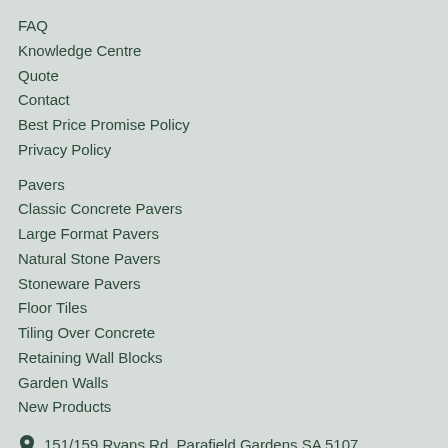FAQ
Knowledge Centre
Quote
Contact
Best Price Promise Policy
Privacy Policy
Pavers
Classic Concrete Pavers
Large Format Pavers
Natural Stone Pavers
Stoneware Pavers
Floor Tiles
Tiling Over Concrete
Retaining Wall Blocks
Garden Walls
New Products
151/159 Ryans Rd, Parafield Gardens SA 5107
(08) 7079 8787
sales@australianpaving.com